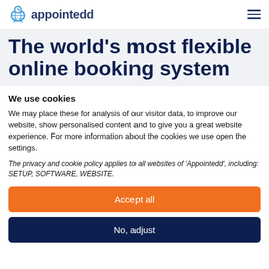appointedd
The world's most flexible online booking system
We use cookies
We may place these for analysis of our visitor data, to improve our website, show personalised content and to give you a great website experience. For more information about the cookies we use open the settings.
The privacy and cookie policy applies to all websites of 'Appointedd', including: SETUP, SOFTWARE, WEBSITE.
Accept all
No, adjust